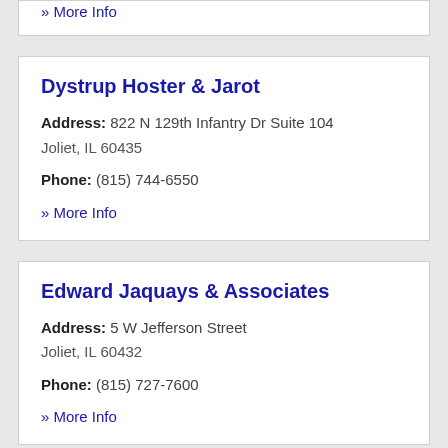» More Info
Dystrup Hoster & Jarot
Address: 822 N 129th Infantry Dr Suite 104 Joliet, IL 60435
Phone: (815) 744-6550
» More Info
Edward Jaquays & Associates
Address: 5 W Jefferson Street Joliet, IL 60432
Phone: (815) 727-7600
» More Info